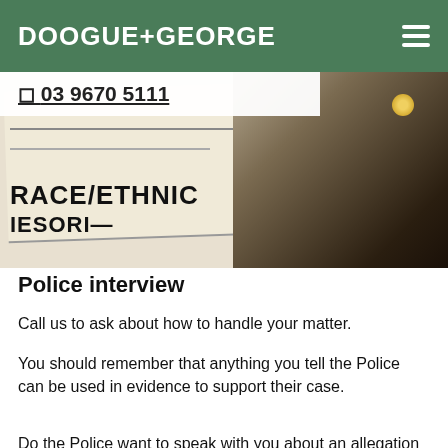DOOGUE+GEORGE
[Figure (photo): Close-up photo of a document showing 'RACE/ETHNIC' text with a pen or dark object resting on it]
03 9670 5111
Police interview
Call us to ask about how to handle your matter.
You should remember that anything you tell the Police can be used in evidence to support their case.
Do the Police want to speak with you about an allegation of Furnishing False or Misleading Information? It is important to the success of your case, that you call us to speak with one of our